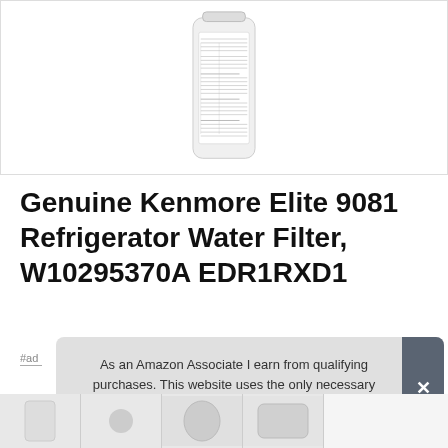[Figure (photo): Kenmore refrigerator water filter bottle showing back label with instructions and warnings]
Genuine Kenmore Elite 9081 Refrigerator Water Filter, W10295370A EDR1RXD1
#ad
As an Amazon Associate I earn from qualifying purchases. This website uses the only necessary cookies to ensure you get the best experience on our website. More information